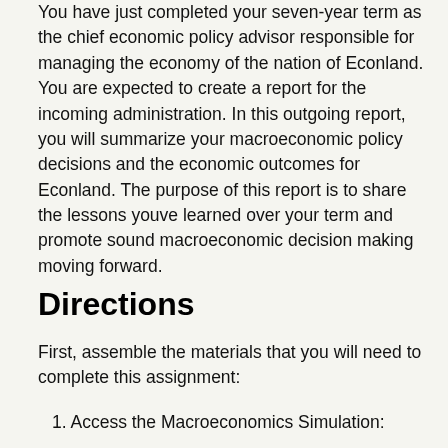You have just completed your seven-year term as the chief economic policy advisor responsible for managing the economy of the nation of Econland. You are expected to create a report for the incoming administration. In this outgoing report, you will summarize your macroeconomic policy decisions and the economic outcomes for Econland. The purpose of this report is to share the lessons youve learned over your term and promote sound macroeconomic decision making moving forward.
Directions
First, assemble the materials that you will need to complete this assignment:
1. Access the Macroeconomics Simulation: